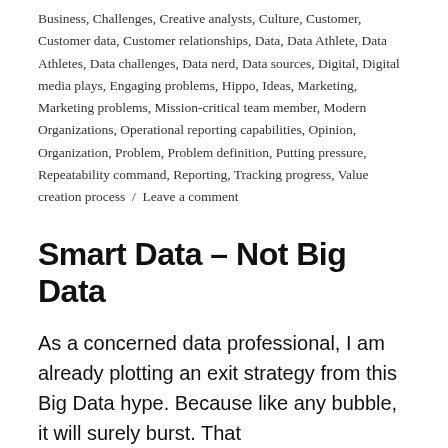Business, Challenges, Creative analysts, Culture, Customer, Customer data, Customer relationships, Data, Data Athlete, Data Athletes, Data challenges, Data nerd, Data sources, Digital, Digital media plays, Engaging problems, Hippo, Ideas, Marketing, Marketing problems, Mission-critical team member, Modern Organizations, Operational reporting capabilities, Opinion, Organization, Problem, Problem definition, Putting pressure, Repeatability command, Reporting, Tracking progress, Value creation process / Leave a comment
Smart Data – Not Big Data
As a concerned data professional, I am already plotting an exit strategy from this Big Data hype. Because like any bubble, it will surely burst. That